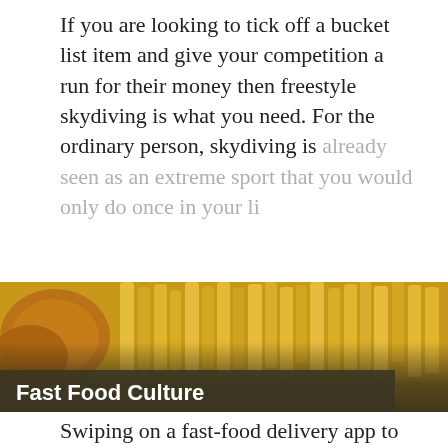If you are looking to tick off a bucket list item and give your competition a run for their money then freestyle skydiving is what you need. For the ordinary person, skydiving is already seen as an extreme sport that you would only do once in your li
Read More
[Figure (photo): Close-up photo of fried fast food items — chips/fries and what appears to be fried chicken or fish pieces — with a dark semi-transparent title bar overlay reading 'Fast Food Culture']
Fast Food Culture
Swiping on a fast-food delivery app to find your